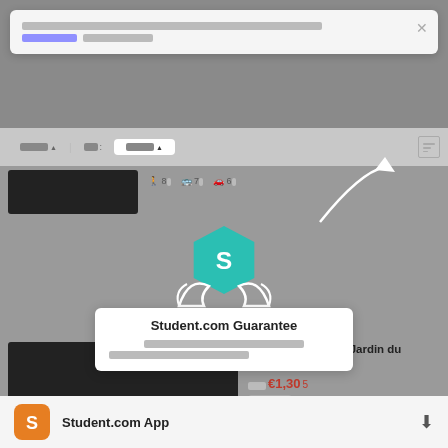[redacted notification text] [redacted link] [redacted text]
ถูกที่สุด ▲  สิ่ง :  เพิ่มเติม ▲  [sort icon]
[Figure (screenshot): Listing card 1 with black thumbnail, walking 8, bus 7, car 6 transport options]
Lovely studio near Jardin du Luxembourg
ราคา €1,305/เดือน
[redacted tag]
เดิน 16 | บัส 12 | รถ [redacted]
[Figure (logo): Student.com Guarantee overlay with teal hexagon logo showing S, hands holding, guarantee badge]
Student.com Guarantee
[redacted guarantee description text]
387 รายการ 1 - 10 รายการ
← 1 2 3 ... 39 →
Student.com App